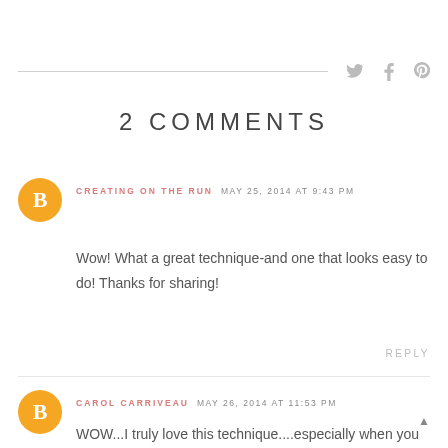social icons: twitter, facebook, pinterest
2 COMMENTS
CREATING ON THE RUN MAY 25, 2014 AT 9:43 PM
Wow! What a great technique-and one that looks easy to do! Thanks for sharing!
REPLY
CAROL CARRIVEAU MAY 26, 2014 AT 11:53 PM
WOW...I truly love this technique....especially when you added another color or two. Will definitely give